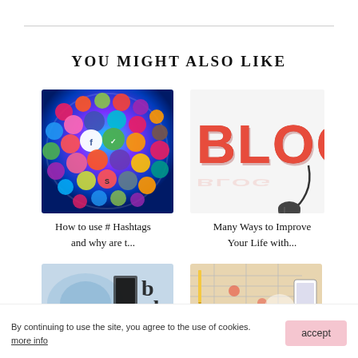YOU MIGHT ALSO LIKE
[Figure (photo): Colorful sphere made of social media app icons including Facebook, Tumblr, and various other app icons]
[Figure (photo): 3D red bold letters spelling BLOG connected to a computer mouse on a white background]
How to use # Hashtags and why are t...
Many Ways to Improve Your Life with...
[Figure (photo): Abstract blue digital world image with text overlay]
[Figure (photo): Hands with pencil and smartphone over documents/spreadsheets]
By continuing to use the site, you agree to the use of cookies.
more info
accept